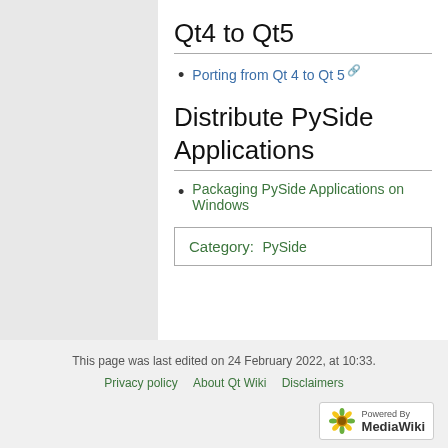Qt4 to Qt5
Porting from Qt 4 to Qt 5 [external link]
Distribute PySide Applications
Packaging PySide Applications on Windows
Category:  PySide
This page was last edited on 24 February 2022, at 10:33.
Privacy policy   About Qt Wiki   Disclaimers